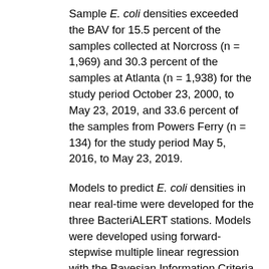Sample E. coli densities exceeded the BAV for 15.5 percent of the samples collected at Norcross (n = 1,969) and 30.3 percent of the samples at Atlanta (n = 1,938) for the study period October 23, 2000, to May 23, 2019, and 33.6 percent of the samples from Powers Ferry (n = 134) for the study period May 5, 2016, to May 23, 2019.
Models to predict E. coli densities in near real-time were developed for the three BacteriALERT stations. Models were developed using forward-stepwise multiple linear regression with the Bayesian Information Criteria and were calibrated with samples collected between October 4, 2007, and May 23, 2019. Explanatory variables included season, turbidity, water temperature, streamflow,